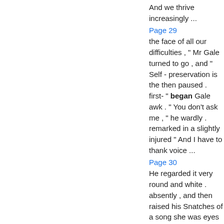And we thrive increasingly ...
Page 29
the face of all our difficulties , " Mr Gale turned to go , and " Self - preservation is the then paused . first- " began Gale awk . " You don't ask me , " he wardly . remarked in a slightly injured " And I have to thank voice ...
Page 30
He regarded it very round and white . absently , and then raised his Snatches of a song she was eyes to the schooner , which singing floated upwards to his went about and began to slant ears . Mr